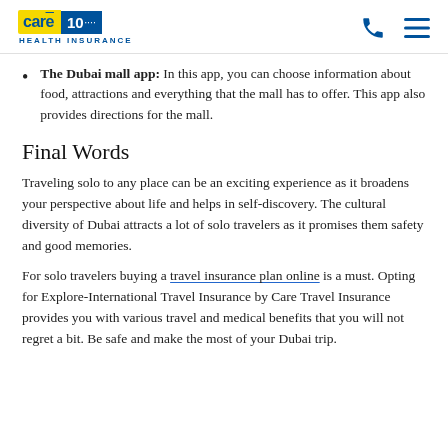Care Health Insurance logo | Phone icon | Menu icon
The Dubai mall app: In this app, you can choose information about food, attractions and everything that the mall has to offer. This app also provides directions for the mall.
Final Words
Traveling solo to any place can be an exciting experience as it broadens your perspective about life and helps in self-discovery. The cultural diversity of Dubai attracts a lot of solo travelers as it promises them safety and good memories.
For solo travelers buying a travel insurance plan online is a must. Opting for Explore-International Travel Insurance by Care Travel Insurance provides you with various travel and medical benefits that you will not regret a bit. Be safe and make the most of your Dubai trip.